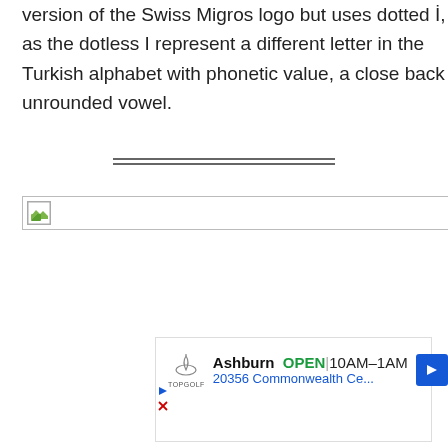version of the Swiss Migros logo but uses dotted İ, as the dotless I represent a different letter in the Turkish alphabet with phonetic value, a close back unrounded vowel.
[Figure (other): Horizontal double rule divider line]
[Figure (other): Broken/missing image placeholder icon with green corner]
[Figure (other): Advertisement for Topgolf Ashburn: OPEN 10AM-1AM, 20356 Commonwealth Ce...]